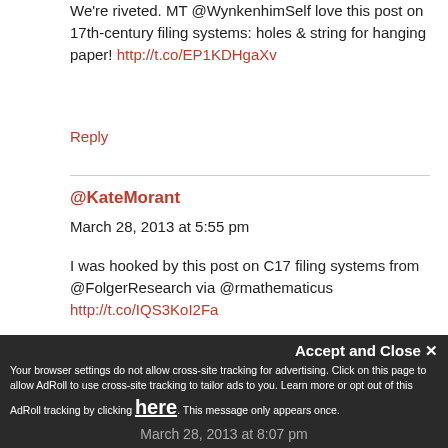We're riveted. MT @WynkenhimSelf love this post on 17th-century filing systems: holes & string for hanging paper! http://t.co/EP1KDHgaXv
Reply
@KateMorant
March 28, 2013 at 5:55 pm
I was hooked by this post on C17 filing systems from @FolgerResearch via @rmathematicus http://t.co/IQS3KoI2Fa
Reply
Accept and Close ✕
Your browser settings do not allow cross-site tracking for advertising. Click on this page to allow AdRoll to use cross-site tracking to tailor ads to you. Learn more or opt out of this AdRoll tracking by clicking here. This message only appears once.
March 28, 2013 at 8:07 pm